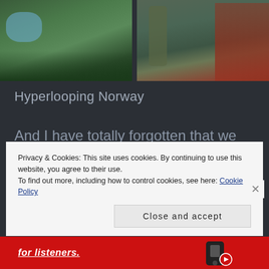[Figure (photo): Two photos side by side: left shows green vegetation/nature scene with water, right shows person near fence/post with reddish background]
Hyperlooping Norway
And I have totally forgotten that we live in the pearl of southern Norway, Mandal, the southernmost town of Norway. A great town, with beaches, quaintness in
Privacy & Cookies: This site uses cookies. By continuing to use this website, you agree to their use.
To find out more, including how to control cookies, see here: Cookie Policy
Close and accept
for listeners.